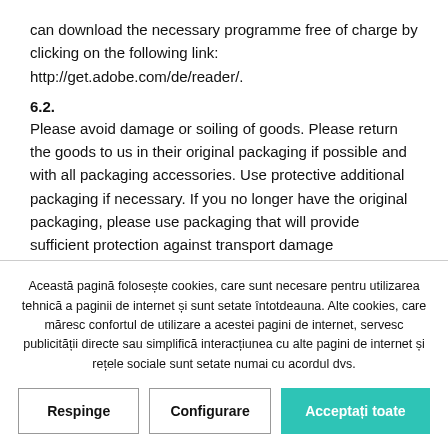can download the necessary programme free of charge by clicking on the following link: http://get.adobe.com/de/reader/.
6.2.
Please avoid damage or soiling of goods. Please return the goods to us in their original packaging if possible and with all packaging accessories. Use protective additional packaging if necessary. If you no longer have the original packaging, please use packaging that will provide sufficient protection against transport damage
Această pagină folosește cookies, care sunt necesare pentru utilizarea tehnică a paginii de internet și sunt setate întotdeauna. Alte cookies, care măresc confortul de utilizare a acestei pagini de internet, servesc publicității directe sau simplifică interacțiunea cu alte pagini de internet și rețele sociale sunt setate numai cu acordul dvs.
Respinge
Configurare
Acceptați toate